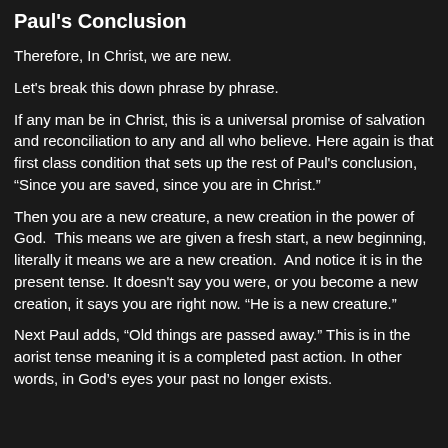Paul's Conclusion
Therefore, In Christ, we are new.
Let's break this down phrase by phrase.
If any man be in Christ, this is a universal promise of salvation and reconciliation to any and all who believe. Here again is that first class condition that sets up the rest of Paul's conclusion, "Since you are saved, since you are in Christ."
Then you are a new creature, a new creation in the power of God.  This means we are given a fresh start, a new beginning, literally it means we are a new creation.  And notice it is in the present tense. It doesn't say you were, or you become a new creation, it says you are right now. “He is a new creature.”
Next Paul adds, “Old things are passed away.” This is in the aorist tense meaning it is a completed past action. In other words, in God’s eyes your past no longer exists.